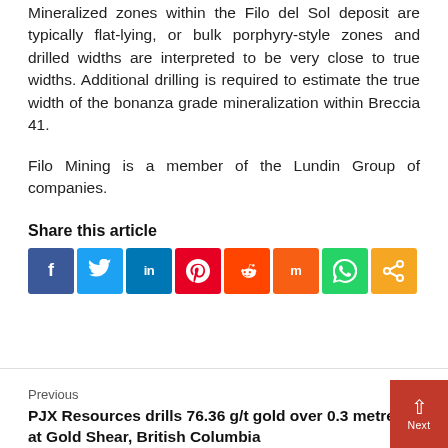Mineralized zones within the Filo del Sol deposit are typically flat-lying, or bulk porphyry-style zones and drilled widths are interpreted to be very close to true widths. Additional drilling is required to estimate the true width of the bonanza grade mineralization within Breccia 41.
Filo Mining is a member of the Lundin Group of companies.
Share this article
[Figure (other): Social media share icons: Facebook (blue), Twitter (light blue), LinkedIn (dark blue), Pinterest (red), Reddit (orange-red), Mix (orange), WhatsApp (green), Share (orange)]
Previous
PJX Resources drills 76.36 g/t gold over 0.3 metres at Gold Shear, British Columbia